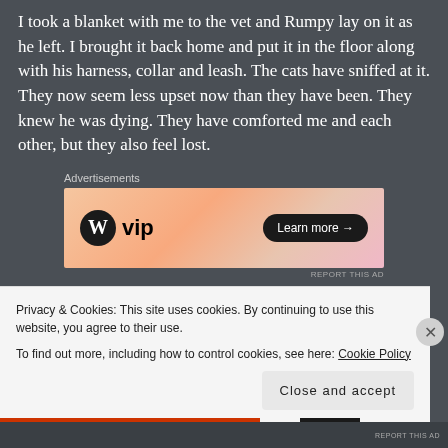I took a blanket with me to the vet and Rumpy lay on it as he left. I brought it back home and put it in the floor along with his harness, collar and leash. The cats have sniffed at it. They now seem less upset now than they have been. They knew he was dying. They have comforted me and each other, but they also feel lost.
[Figure (screenshot): WordPress VIP advertisement banner with orange/pink gradient background, WordPress logo on left, 'Learn more →' button on right]
While I was spending those final moments with Rumpy, I felt DeDe here. I could see her smiling and wagging her nubby tail. It
Privacy & Cookies: This site uses cookies. By continuing to use this website, you agree to their use.
To find out more, including how to control cookies, see here: Cookie Policy
Close and accept